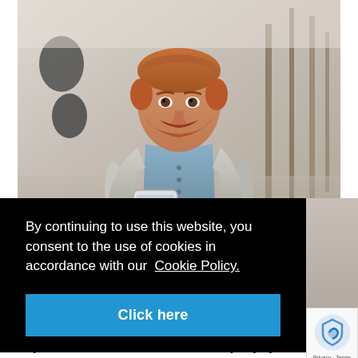[Figure (photo): A red-haired man in a light grey blazer and blue shirt looking down at a smartphone, standing in a modern hallway with blurred background.]
By continuing to use this website, you consent to the use of cookies in accordance with our Cookie Policy.
Click here
A fully hosted online tax service used every day by